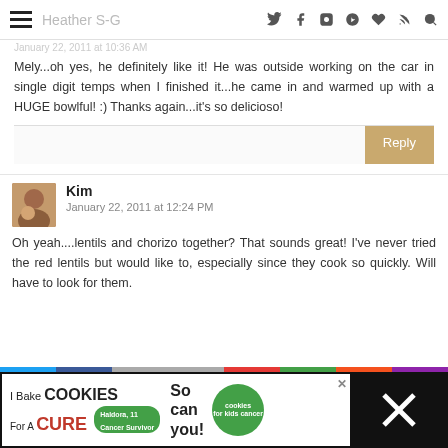Heather S-G
January 22, 2011 at 10:36 AM
Mely...oh yes, he definitely like it! He was outside working on the car in single digit temps when I finished it...he came in and warmed up with a HUGE bowlful! :) Thanks again...it's so delicioso!
Reply
Kim
January 22, 2011 at 12:24 PM
Oh yeah....lentils and chorizo together? That sounds great! I've never tried the red lentils but would like to, especially since they cook so quickly. Will have to look for them.
[Figure (screenshot): Advertisement banner: I Bake COOKIES For A CURE - Haldora, 11 Cancer Survivor - So can you! - cookies for kids cancer logo]